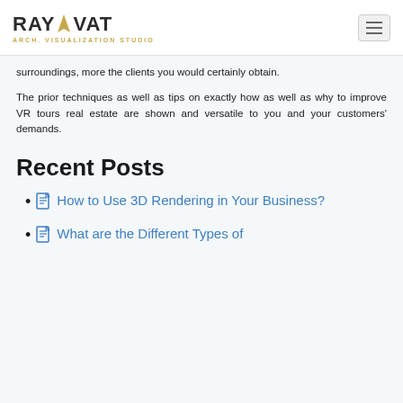RAYVAT ARCH. VISUALIZATION STUDIO
surroundings, more the clients you would certainly obtain.
The prior techniques as well as tips on exactly how as well as why to improve VR tours real estate are shown and versatile to you and your customers' demands.
Recent Posts
How to Use 3D Rendering in Your Business?
What are the Different Types of